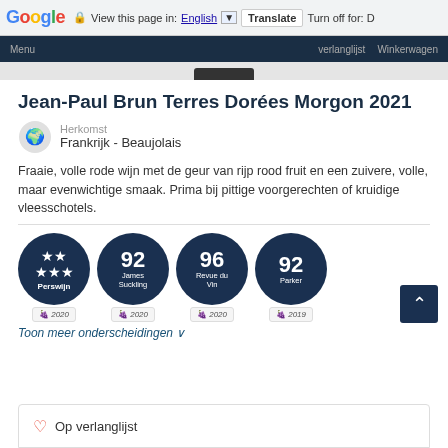Google | View this page in: English | Translate | Turn off for: D
Menu   verlanglijst  Winkerwagen
Jean-Paul Brun Terres Dorées Morgon 2021
Herkomst
Frankrijk - Beaujolais
Fraaie, volle rode wijn met de geur van rijp rood fruit en een zuivere, volle, maar evenwichtige smaak. Prima bij pittige voorgerechten of kruidige vleesschotels.
[Figure (infographic): Four dark blue circular badges: stars badge labeled Perswijn with year 2020; score 92 James Suckling 2020; score 96 Revue du Vin 2020; score 92 Parker 2019]
Toon meer onderscheidingen ∨
♡ Op verlanglijst